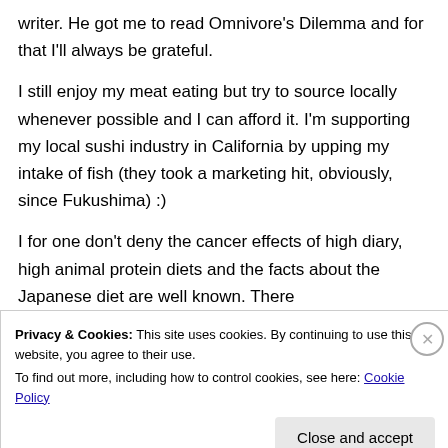writer. He got me to read Omnivore's Dilemma and for that I'll always be grateful.
I still enjoy my meat eating but try to source locally whenever possible and I can afford it. I'm supporting my local sushi industry in California by upping my intake of fish (they took a marketing hit, obviously, since Fukushima) :)
I for one don't deny the cancer effects of high diary, high animal protein diets and the facts about the Japanese diet are well known. There
Privacy & Cookies: This site uses cookies. By continuing to use this website, you agree to their use.
To find out more, including how to control cookies, see here: Cookie Policy